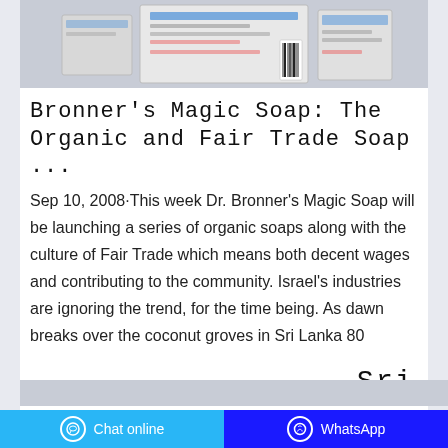[Figure (photo): Product image of Dr. Bronner's Magic Soap packaging, shown partially with bar codes and labels visible on a light background]
Bronner's Magic Soap: The Organic and Fair Trade Soap ...
Sep 10, 2008·This week Dr. Bronner's Magic Soap will be launching a series of organic soaps along with the culture of Fair Trade which means both decent wages and contributing to the community. Israel's industries are ignoring the trend, for the time being. As dawn breaks over the coconut groves in Sri Lanka 80 laborers from Dr. Bronner's Magic soap factory go to work.
Contact the manufacturer
WhatsApp
Sri
Chat online   WhatsApp